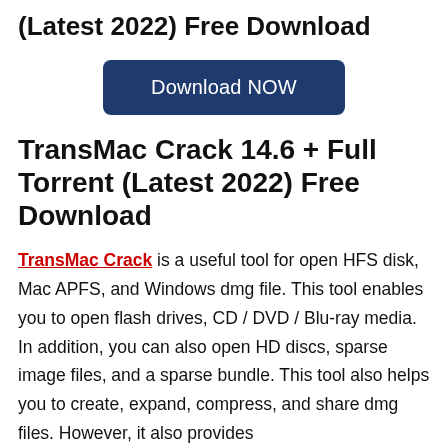(Latest 2022) Free Download
[Figure (other): Dark blue rounded button with white text 'Download NOW']
TransMac Crack 14.6 + Full Torrent (Latest 2022) Free Download
TransMac Crack is a useful tool for open HFS disk, Mac APFS, and Windows dmg file. This tool enables you to open flash drives, CD / DVD / Blu-ray media. In addition, you can also open HD discs, sparse image files, and a sparse bundle. This tool also helps you to create, expand, compress, and share dmg files. However, it also provides